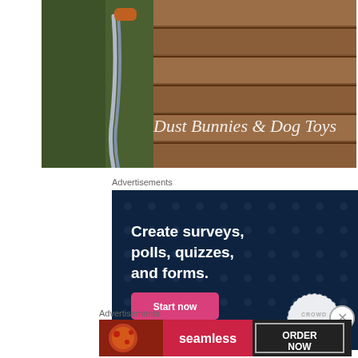[Figure (photo): Blog header photo showing gardening tools and wooden pallet with script text overlay reading 'Dust Bunnies & Dog Toys']
Advertisements
[Figure (screenshot): CrowdSignal advertisement on dark navy background with polka dot pattern. Text reads: 'Create surveys, polls, quizzes, and forms.' with a pink 'Start now' button and CrowdSignal logo in bottom right, WordPress logo in bottom left.]
Advertisements
[Figure (screenshot): Seamless food delivery advertisement showing pizza image on left, Seamless logo in pink/red center, and 'ORDER NOW' button on dark background.]